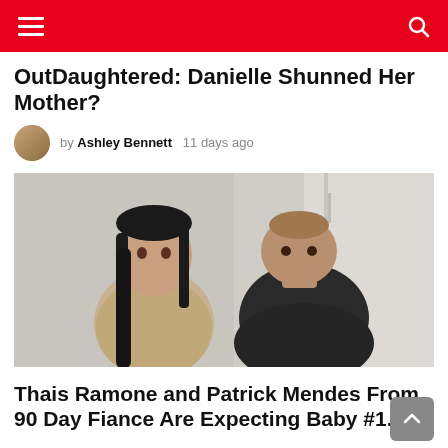Navigation bar with menu and search icons
OutDaughtered: Danielle Shunned Her Mother?
by Ashley Bennett · 11 days ago
[Figure (photo): A young woman with long dark hair and a man in a black shirt in a white room]
Thais Ramone and Patrick Mendes From 90 Day Fiance Are Expecting Baby #1.